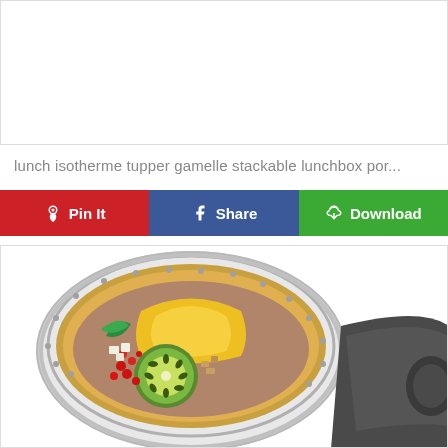[Figure (photo): White blank area (top product image placeholder)]
lunch isotherme tupper gamelle stackable lunchbox por...
[Figure (infographic): Button bar with Pin It (red), Share (blue), Download (green) social sharing buttons]
[Figure (photo): Stainless steel round lunch box / food container filled with fruits including kiwi, mango slices, pomegranate seeds, mint leaves and croutons; partial view of a second container or lid on the right side.]